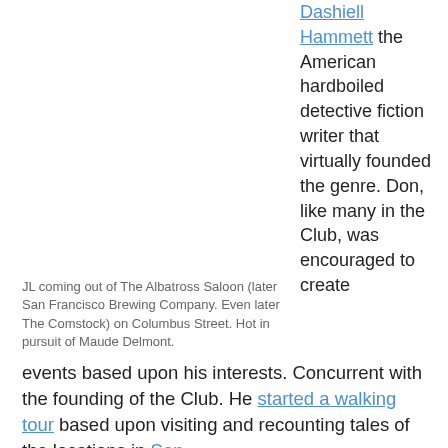Dashiell Hammett the American hardboiled detective fiction writer that virtually founded the genre. Don, like many in the Club, was encouraged to create events based upon his interests. Concurrent with the founding of the Club. He started a walking tour based upon visiting and recounting tales of the locations in San Francisco that Hammett lived and worked in as well as the actual and imaginary locations Hammett described in his novels and short stories set in SF. He presented his first
JL coming out of The Albatross Saloon (later San Francisco Brewing Company. Even later The Comstock) on Columbus Street. Hot in pursuit of Maude Delmont.